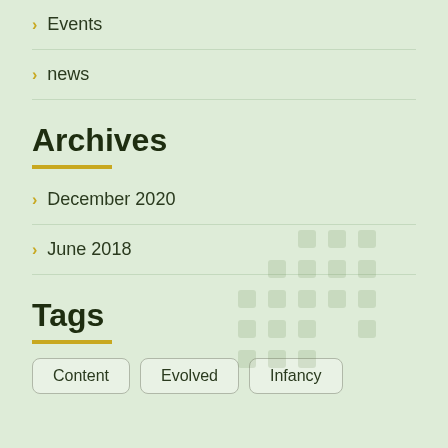Events
news
Archives
December 2020
June 2018
Tags
Content
Evolved
Infancy